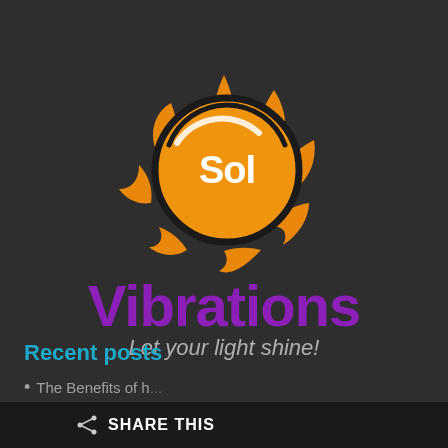[Figure (logo): Sol Vibrations sun logo — orange sun with rays and a circular badge containing the word 'Sol' in white text on orange background with black ring outline, styled as a speech bubble/sun hybrid]
Vibrations
Let your light shine!
Recent posts
The Benefits of h...
SHARE THIS